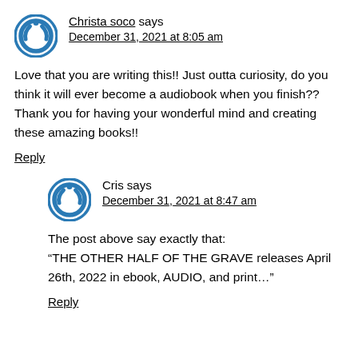Christa soco says
December 31, 2021 at 8:05 am
Love that you are writing this!! Just outta curiosity, do you think it will ever become a audiobook when you finish?? Thank you for having your wonderful mind and creating these amazing books!!
Reply
Cris says
December 31, 2021 at 8:47 am
The post above say exactly that:
“THE OTHER HALF OF THE GRAVE releases April 26th, 2022 in ebook, AUDIO, and print…”
Reply